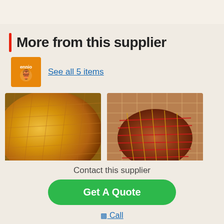More from this supplier
See all 5 items
[Figure (photo): Golden smoked whole turkey or ham in mesh netting, close-up view]
[Figure (photo): Roasted meat joint wrapped in red and gold mesh netting on wooden surface]
Contact this supplier
Get A Quote
Call